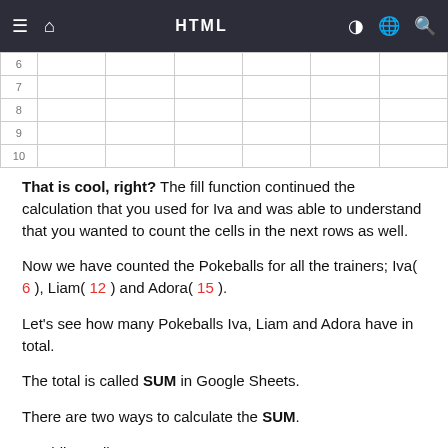HTML
| 6 |  |  |  |  |  |  |
| 7 |  |  |  |  |  |  |
| 8 |  |  |  |  |  |  |
| 9 |  |  |  |  |  |  |
| 10 |  |  |  |  |  |  |
That is cool, right? The fill function continued the calculation that you used for Iva and was able to understand that you wanted to count the cells in the next rows as well.
Now we have counted the Pokeballs for all the trainers; Iva( 6 ), Liam( 12 ) and Adora( 15 ).
Let's see how many Pokeballs Iva, Liam and Adora have in total.
The total is called SUM in Google Sheets.
There are two ways to calculate the SUM.
Adding cells